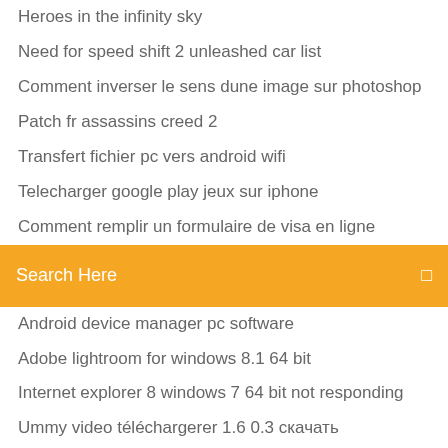Heroes in the infinity sky
Need for speed shift 2 unleashed car list
Comment inverser le sens dune image sur photoshop
Patch fr assassins creed 2
Transfert fichier pc vers android wifi
Telecharger google play jeux sur iphone
Comment remplir un formulaire de visa en ligne
Search Here
Android device manager pc software
Adobe lightroom for windows 8.1 64 bit
Internet explorer 8 windows 7 64 bit not responding
Ummy video téléchargerer 1.6 0.3 скачать
Microsoft solitaire collection telecharger windows 10
Telecharger ios 7 iphone 4s
Probleme lecture videos windows 10
Itune win 10 64 bit
Telecharger combat arms eu nexon
Star wars knights of the old republic online télécharger